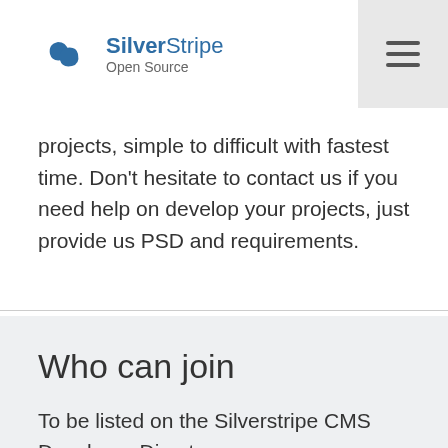SilverStripe Open Source
projects, simple to difficult with fastest time. Don't hesitate to contact us if you need help on develop your projects, just provide us PSD and requirements.
Who can join
To be listed on the Silverstripe CMS Developer Directory, you